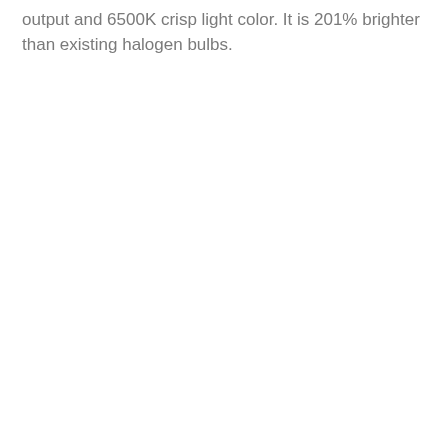output and 6500K crisp light color. It is 201% brighter than existing halogen bulbs.